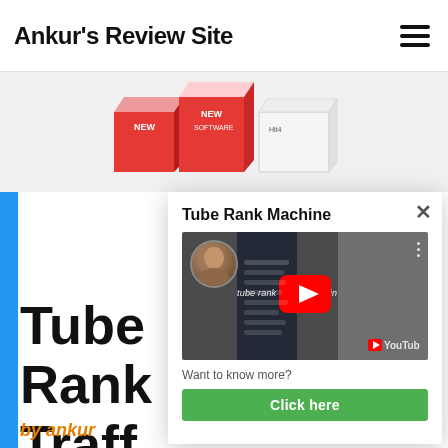Ankur's Review Site
[Figure (illustration): Product box images for Tube Rank Machine software partially visible behind modal]
[Figure (screenshot): Modal popup showing 'Tube Rank Machine' title, a YouTube video thumbnail with text 'tube rank machine login', a 'Want to know more?' prompt, and a green 'Click here' button with a close X button]
Tube Rank Traff
by ankur